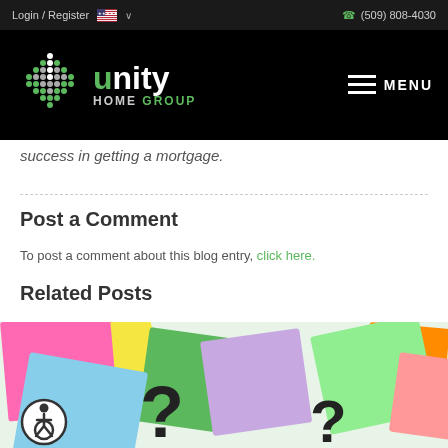Login / Register  (509) 808-4030
[Figure (logo): Unity Home Group logo - white and green text with diamond dot pattern graphic on black background, with hamburger menu icon and MENU text]
success in getting a mortgage.
Post a Comment
To post a comment about this blog entry, click here.
Related Posts
[Figure (photo): Colorful sticky notes scattered with question marks, including blue, green, pink, yellow, and purple notes on a light background. Accessibility wheelchair icon visible in bottom left corner.]